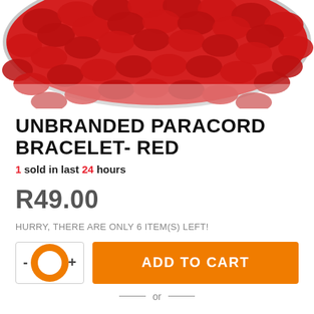[Figure (photo): Close-up photo of a red braided paracord bracelet on white background]
UNBRANDED PARACORD BRACELET- RED
1 sold in last 24 hours
R49.00
HURRY, THERE ARE ONLY 6 ITEM(S) LEFT!
ADD TO CART
or